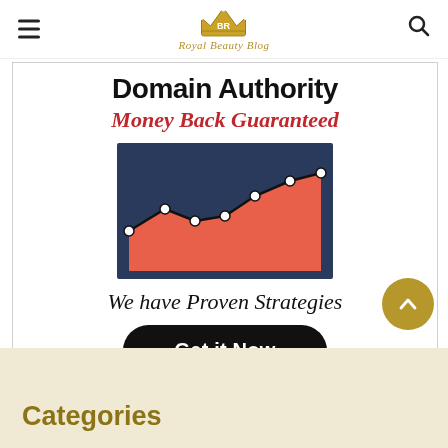Royal Beauty Blog
[Figure (infographic): Domain Authority advertisement banner with red rising line chart graphic, text 'Domain Authority Money Back Guaranteed We have Proven Strategies' and a 'Get it Now' button]
Categories